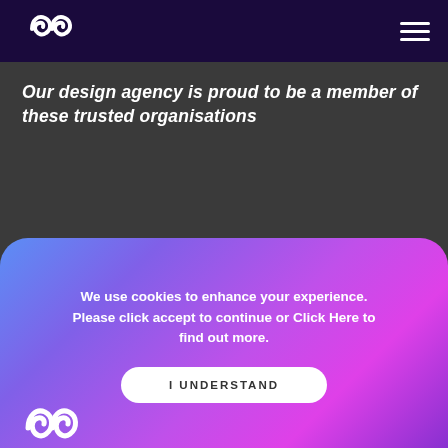[Figure (logo): White looping double-circle logo on dark purple header background]
Our design agency is proud to be a member of these trusted organisations
We use cookies to enhance your experience. Please click accept to continue or Click Here to find out more.
I UNDERSTAND